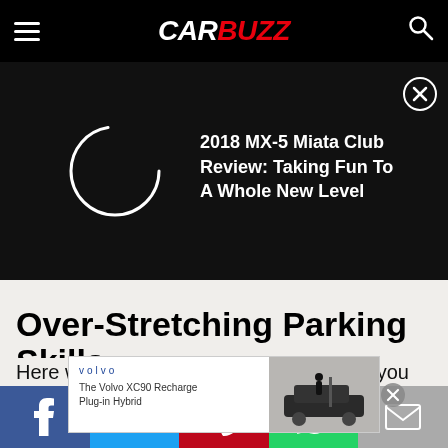CARBUZZ
[Figure (screenshot): Black hero area with a loading spinner circle on the left and article promo text on the right reading: 2018 MX-5 Miata Club Review: Taking Fun To A Whole New Level]
Over-Stretching Parking Skills
Here we have a lesson in "Just because you can, doesn't mean you should." Yes, that gap is too good to be true, but the driver forgot one very important
[Figure (screenshot): Volvo advertisement banner showing Volvo logo, text 'The Volvo XC90 Recharge Plug-in Hybrid', and an image of the XC90 SUV]
Social share buttons: Facebook, Twitter, Pinterest, WhatsApp, Email